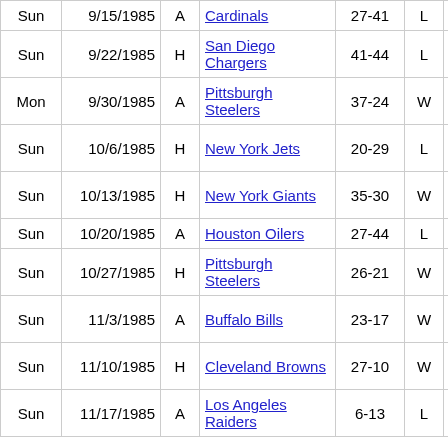| Day | Date | H/A | Opponent | Score | W/L | Location | Stadium |
| --- | --- | --- | --- | --- | --- | --- | --- |
| Sun | 9/15/1985 | A | Cardinals | 27-41 | L | MO | St… |
| Sun | 9/22/1985 | H | San Diego Chargers | 41-44 | L | Cincinnati, OH | Ri… St… |
| Mon | 9/30/1985 | A | Pittsburgh Steelers | 37-24 | W | Pittsburgh, PA | Th… Ri… St… |
| Sun | 10/6/1985 | H | New York Jets | 20-29 | L | Cincinnati, OH | Ri… St… |
| Sun | 10/13/1985 | H | New York Giants | 35-30 | W | Cincinnati, OH | Ri… St… |
| Sun | 10/20/1985 | A | Houston Oilers | 27-44 | L | Houston, TX | As… |
| Sun | 10/27/1985 | H | Pittsburgh Steelers | 26-21 | W | Cincinnati, OH | Ri… St… |
| Sun | 11/3/1985 | A | Buffalo Bills | 23-17 | W | Orchard Park, NY | Ri… St… |
| Sun | 11/10/1985 | H | Cleveland Browns | 27-10 | W | Cincinnati, OH | Ri… St… |
| Sun | 11/17/1985 | A | Los Angeles Raiders | 6-13 | L | Los Angeles, CA | M… Co… |